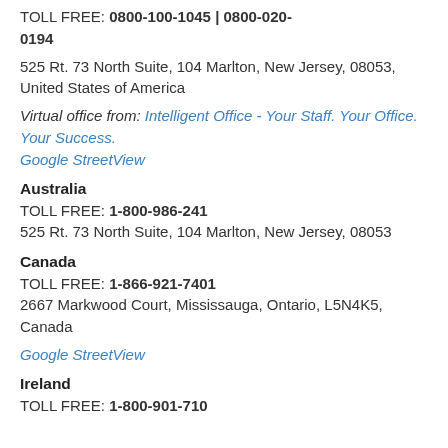TOLL FREE: 0800-100-1045 | 0800-020-0194
525 Rt. 73 North Suite, 104 Marlton, New Jersey, 08053, United States of America
Virtual office from: Intelligent Office - Your Staff. Your Office. Your Success. Google StreetView
Australia
TOLL FREE: 1-800-986-241
525 Rt. 73 North Suite, 104 Marlton, New Jersey, 08053
Canada
TOLL FREE: 1-866-921-7401
2667 Markwood Court, Mississauga, Ontario, L5N4K5, Canada
Google StreetView
Ireland
TOLL FREE: 1-800-901-710